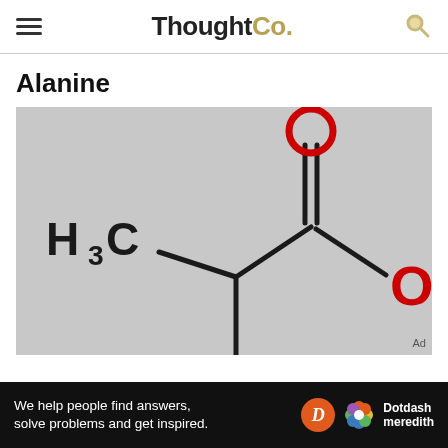ThoughtCo.
Alanine
[Figure (chemistry-diagram): Structural formula of Alanine showing H3C group on the left connected to a central carbon, which connects to a carbonyl group (C=O with O in red circle above) and a carboxyl group (OH in red on the right). Grey background.]
We help people find answers, solve problems and get inspired.
[Figure (logo): Dotdash Meredith logo with orange D circle and colorful flower icon]